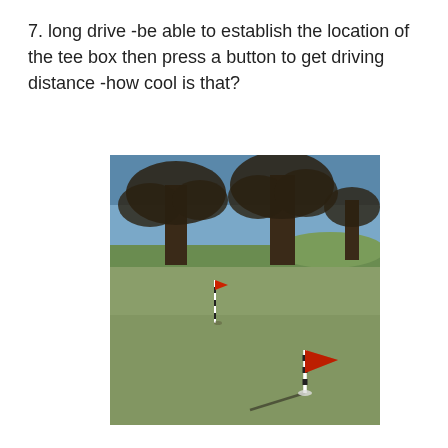7. long drive -be able to establish the location of the tee box then press a button to get driving distance -how cool is that?
[Figure (photo): A golf course green with two flagsticks bearing red flags and black-and-white checkered poles. Bare trees visible in the background under a blue sky. The foreground flag casts a long shadow across the muted green grass.]